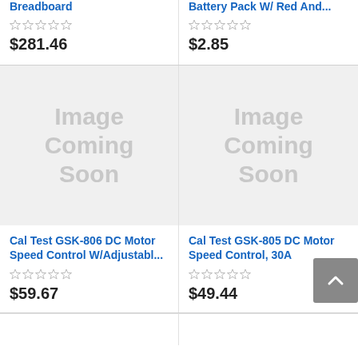Breadboard
Battery Pack W/ Red And...
$281.46
$2.85
[Figure (photo): Image Coming Soon placeholder for Cal Test GSK-806 DC Motor Speed Control]
[Figure (photo): Image Coming Soon placeholder for Cal Test GSK-805 DC Motor Speed Control 30A]
Cal Test GSK-806 DC Motor Speed Control W/Adjustabl...
Cal Test GSK-805 DC Motor Speed Control, 30A
$59.67
$49.44